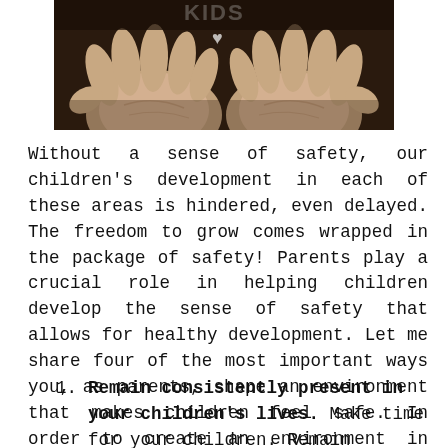[Figure (photo): Close-up of two open palms facing upward with white text or letters in the hands, against a dark background.]
Without a sense of safety, our children’s development in each of these areas is hindered, even delayed. The freedom to grow comes wrapped in the package of safety! Parents play a crucial role in helping children develop the sense of safety that allows for healthy development. Let me share four of the most important ways you, as parents, shape an environment that makes children feel safe. In order to create an environment in which children feel safe:
1. Remain consistently present in your children’s lives. Make time for your children. Remain present even when you are angry at